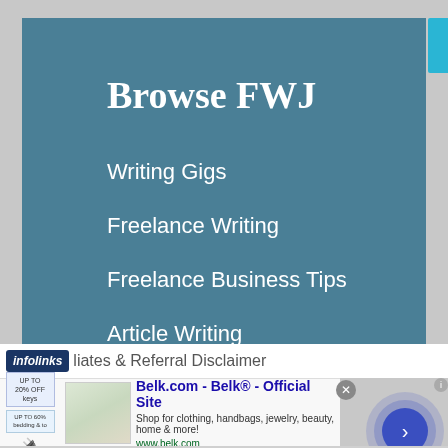Browse FWJ
Writing Gigs
Freelance Writing
Freelance Business Tips
Article Writing
Writing Tips
Writing Resources
infolinks  liates & Referral Disclaimer
Belk.com - Belk® - Official Site
Shop for clothing, handbags, jewelry, beauty, home & more!
www.belk.com